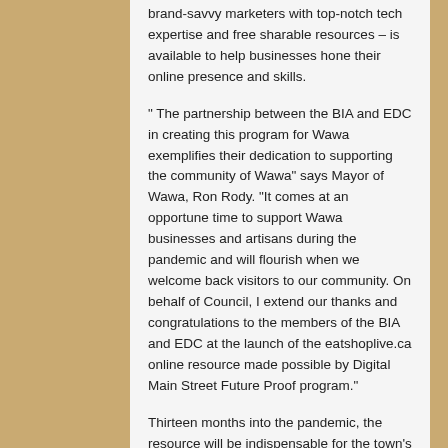brand-savvy marketers with top-notch tech expertise and free sharable resources – is available to help businesses hone their online presence and skills.
" The partnership between the BIA and EDC in creating this program for Wawa exemplifies their dedication to supporting the community of Wawa" says Mayor of Wawa, Ron Rody. "It comes at an opportune time to support Wawa businesses and artisans during the pandemic and will flourish when we welcome back visitors to our community. On behalf of Council, I extend our thanks and congratulations to the members of the BIA and EDC at the launch of the eatshoplive.ca online resource made possible by Digital Main Street Future Proof program."
Thirteen months into the pandemic, the resource will be indispensable for the town's vibrant community of innovators, entrepreneurs, artisans and community leaders, Shah adds.
For residents and tourists, it's a digital revival of the